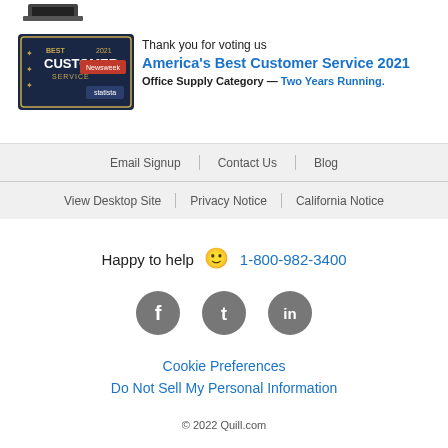[Figure (photo): Partial product image at top of page (keyboard/device)]
[Figure (logo): Best Customer Service 2021 Newsweek award badge with dark navy background]
Thank you for voting us America's Best Customer Service 2021 Office Supply Category — Two Years Running.
Email Signup | Contact Us | Blog
View Desktop Site | Privacy Notice | California Notice
Happy to help 🙂 1-800-982-3400
[Figure (illustration): Social media icons: Facebook, Twitter, LinkedIn (grey circles with white icons)]
Cookie Preferences
Do Not Sell My Personal Information
© 2022 Quill.com